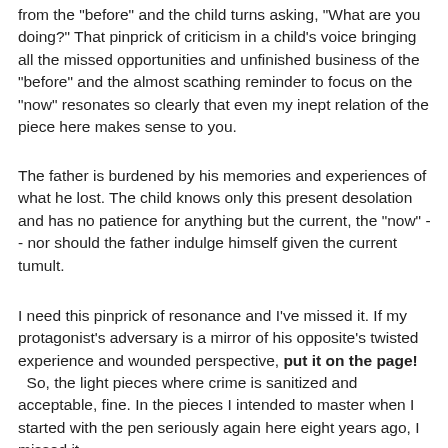from the "before" and the child turns asking, "What are you doing?" That pinprick of criticism in a child's voice bringing all the missed opportunities and unfinished business of the "before" and the almost scathing reminder to focus on the "now" resonates so clearly that even my inept relation of the piece here makes sense to you.
The father is burdened by his memories and experiences of what he lost. The child knows only this present desolation and has no patience for anything but the current, the "now" -- nor should the father indulge himself given the current tumult.
I need this pinprick of resonance and I've missed it. If my protagonist's adversary is a mirror of his opposite's twisted experience and wounded perspective, put it on the page!
So, the light pieces where crime is sanitized and acceptable, fine. In the pieces I intended to master when I started with the pen seriously again here eight years ago, I missed it.